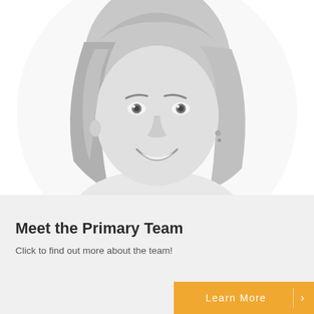[Figure (photo): Black and white headshot portrait of a smiling woman with straight blonde hair, looking directly at the camera, against a white background.]
Meet the Primary Team
Click to find out more about the team!
Learn More  >